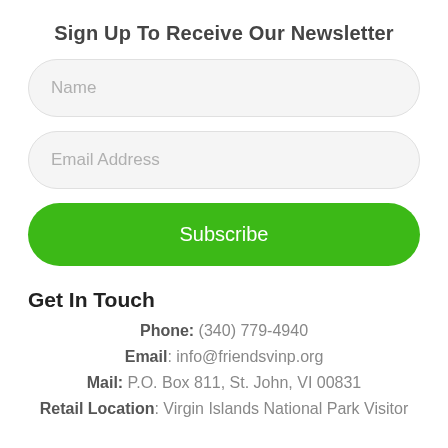Sign Up To Receive Our Newsletter
Name
Email Address
Subscribe
Get In Touch
Phone: (340) 779-4940
Email: info@friendsvinp.org
Mail: P.O. Box 811, St. John, VI 00831
Retail Location: Virgin Islands National Park Visitor